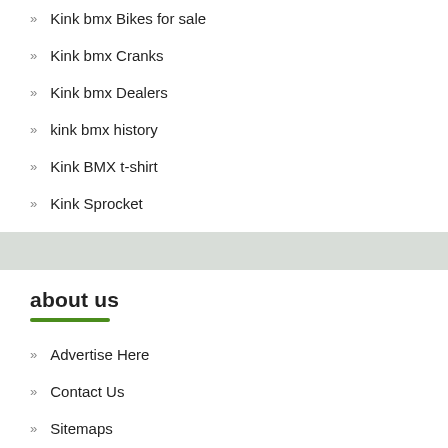Kink bmx Bikes for sale
Kink bmx Cranks
Kink bmx Dealers
kink bmx history
Kink BMX t-shirt
Kink Sprocket
about us
Advertise Here
Contact Us
Sitemaps